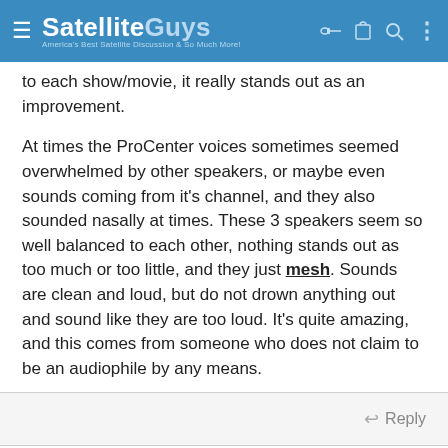SatelliteGuys — America's Best Satellite Discussion & So Much More!
to each show/movie, it really stands out as an improvement.

At times the ProCenter voices sometimes seemed overwhelmed by other speakers, or maybe even sounds coming from it's channel, and they also sounded nasally at times. These 3 speakers seem so well balanced to each other, nothing stands out as too much or too little, and they just mesh. Sounds are clean and loud, but do not drown anything out and sound like they are too loud. It's quite amazing, and this comes from someone who does not claim to be an audiophile by any means.